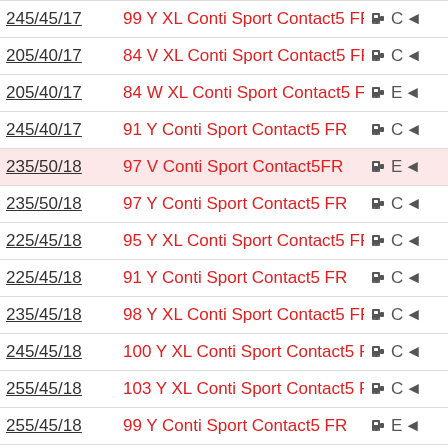| Size | Description | Icons |
| --- | --- | --- |
| 245/45/17 | 99 Y XL Conti Sport Contact5 FR | ⛽ C ↩ |
| 205/40/17 | 84 V XL Conti Sport Contact5 FR | ⛽ C ↩ |
| 205/40/17 | 84 W XL Conti Sport Contact5 FR | ⛽ E ↩ |
| 245/40/17 | 91 Y Conti Sport Contact5 FR | ⛽ C ↩ |
| 235/50/18 | 97 V Conti Sport Contact5FR | ⛽ E ↩ |
| 235/50/18 | 97 Y Conti Sport Contact5 FR | ⛽ C ↩ |
| 225/45/18 | 95 Y XL Conti Sport Contact5 FR | ⛽ C ↩ |
| 225/45/18 | 91 Y Conti Sport Contact5 FR | ⛽ C ↩ |
| 235/45/18 | 98 Y XL Conti Sport Contact5 FR | ⛽ C ↩ |
| 245/45/18 | 100 Y XL Conti Sport Contact5 FR | ⛽ C ↩ |
| 255/45/18 | 103 Y XL Conti Sport Contact5 FR | ⛽ C ↩ |
| 255/45/18 | 99 Y Conti Sport Contact5 FR | ⛽ E ↩ |
| 225/40/18 | 92 Y XL Conti Sport Contact5 FR | ⛽ E ↩ |